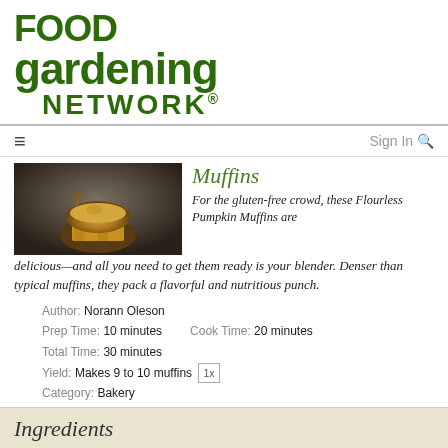[Figure (logo): Food Gardening Network logo in dark green bold text]
≡   Sign In 🔍
[Figure (photo): Photo of a pumpkin muffin in paper wrapper on dark background]
Muffins
For the gluten-free crowd, these Flourless Pumpkin Muffins are delicious—and all you need to get them ready is your blender. Denser than typical muffins, they pack a flavorful and nutritious punch.
Author: Norann Oleson
Prep Time: 10 minutes   Cook Time: 20 minutes
Total Time: 30 minutes
Yield: Makes 9 to 10 muffins [1x]
Category: Bakery
Ingredients